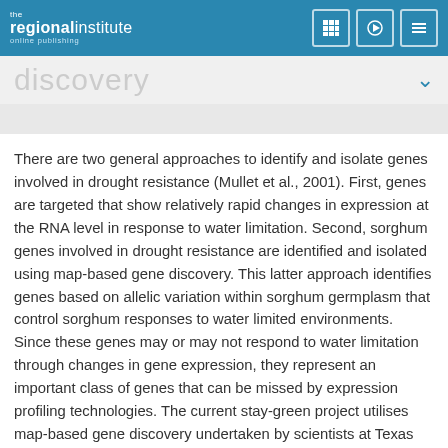the regionalinstitute online publishing
discovery
There are two general approaches to identify and isolate genes involved in drought resistance (Mullet et al., 2001). First, genes are targeted that show relatively rapid changes in expression at the RNA level in response to water limitation. Second, sorghum genes involved in drought resistance are identified and isolated using map-based gene discovery. This latter approach identifies genes based on allelic variation within sorghum germplasm that control sorghum responses to water limited environments. Since these genes may or may not respond to water limitation through changes in gene expression, they represent an important class of genes that can be missed by expression profiling technologies. The current stay-green project utilises map-based gene discovery undertaken by scientists at Texas A&M University, USA, although micro-array analysis is being used simultaneously to assist in gene discovery and to understand how sorghum responds to drought.